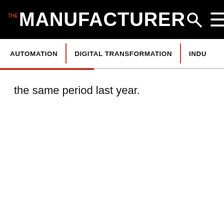THE MANUFACTURER
AUTOMATION | DIGITAL TRANSFORMATION | INDU
the same period last year.